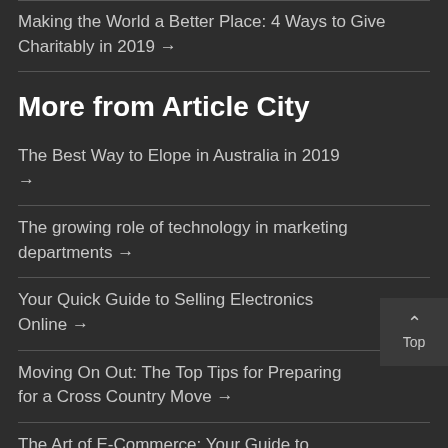Making the World a Better Place: 4 Ways to Give Charitably in 2019 →
More from Article City
The Best Way to Elope in Australia in 2019 →
The growing role of technology in marketing departments →
Your Quick Guide to Selling Electronics Online →
Moving On Out: The Top Tips for Preparing for a Cross Country Move →
The Art of E-Commerce: Your Guide to